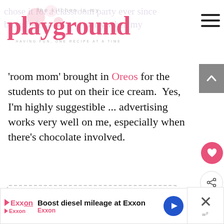the kitchen is my playground — HAVING FUN, ONE RECIPE AT A TIME
'room mom' brought in Oreos for the students to put on their ice cream.  Yes, I'm highly suggestible ... advertising works very well on me, especially when there's chocolate involved.
Who doesn't love an Oreo?  They're even better in this classic
WHAT'S NEXT → No-Bake Chocolate...
Boost diesel mileage at Exxon
Exxon